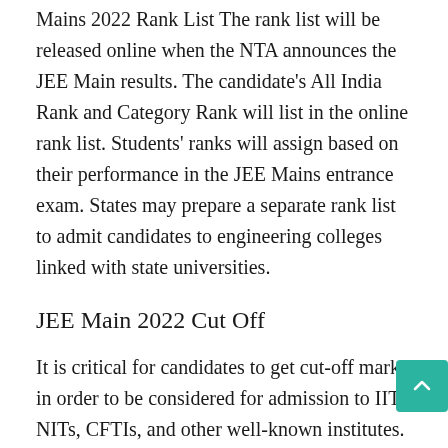Mains 2022 Rank List The rank list will be released online when the NTA announces the JEE Main results. The candidate's All India Rank and Category Rank will list in the online rank list. Students' ranks will assign based on their performance in the JEE Mains entrance exam. States may prepare a separate rank list to admit candidates to engineering colleges linked with state universities.
JEE Main 2022 Cut Off
It is critical for candidates to get cut-off marks in order to be considered for admission to IITs, NITs, CFTIs, and other well-known institutes. In